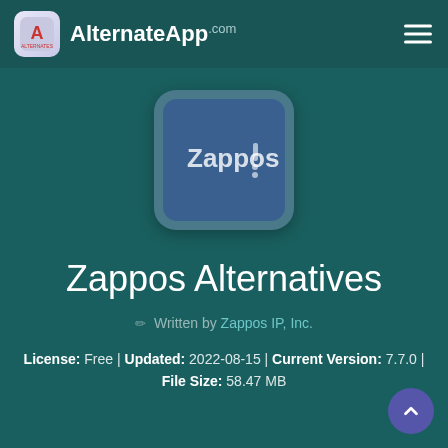AlternateApp.com
[Figure (logo): Zappos app icon — blue rounded square with Zappos text and decorative dots]
Zappos Alternatives
Written by Zappos IP, Inc.
License: Free | Updated: 2022-08-15 | Current Version: 7.7.0 | File Size: 58.47 MB